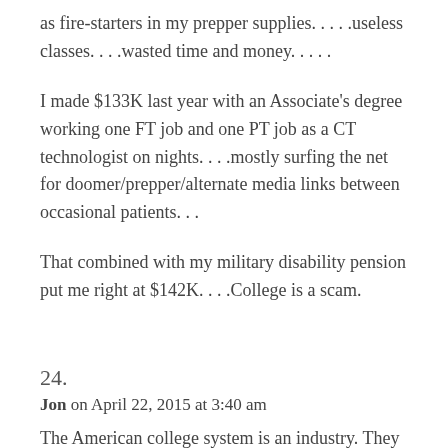as fire-starters in my prepper supplies. . ...useless classes. . . .wasted time and money. . ...
I made $133K last year with an Associate's degree working one FT job and one PT job as a CT technologist on nights. . . .mostly surfing the net for doomer/prepper/alternate media links between occasional patients. . .
That combined with my military disability pension put me right at $142K. . ...College is a scam.
24.
Jon on April 22, 2015 at 3:40 am
The American college system is an industry. They are interested in perpetuating it and making profits and keeping the faculty well paid. The education of the student and their getting good paying jobs after graduating is far from important to them. However the